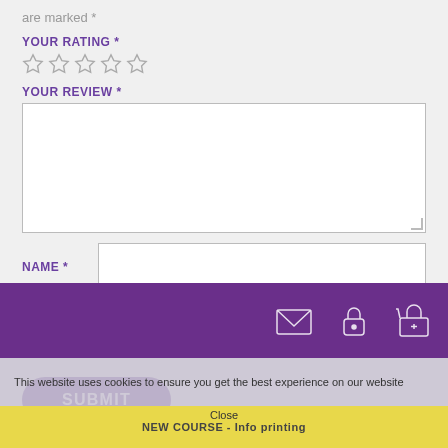are marked *
YOUR RATING *
[Figure (other): Five empty star rating icons]
YOUR REVIEW *
[Figure (other): Text area input box for review]
NAME *
[Figure (other): Name input field]
EMAIL *
[Figure (other): Email input field]
[Figure (other): Submit button (purple rounded rectangle)]
This website uses cookies to ensure you get the best experience on our website
NEW COURSE - Info printing